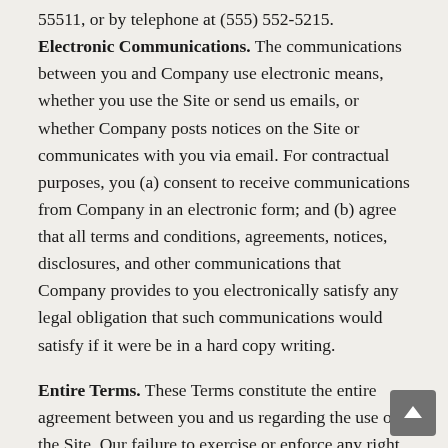55511, or by telephone at (555) 552-5215.
Electronic Communications. The communications between you and Company use electronic means, whether you use the Site or send us emails, or whether Company posts notices on the Site or communicates with you via email. For contractual purposes, you (a) consent to receive communications from Company in an electronic form; and (b) agree that all terms and conditions, agreements, notices, disclosures, and other communications that Company provides to you electronically satisfy any legal obligation that such communications would satisfy if it were be in a hard copy writing.
Entire Terms. These Terms constitute the entire agreement between you and us regarding the use of the Site. Our failure to exercise or enforce any right or provision of these Terms shall not operate as a waiver of such right or provision. The section titles in these Terms are for convenience only and have no legal or contractual effect. The word 'including' means 'including without limitation'. If any provision of these Terms is held to be invalid or unenforceable, the other